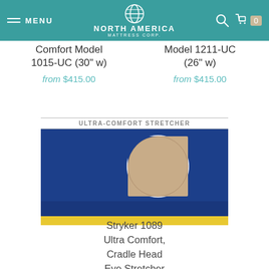MENU | NORTH AMERICA MATTRESS CORP.
Comfort Model 1015-UC (30" w)
from $415.00
Model 1211-UC (26" w)
from $415.00
[Figure (photo): Ultra-Comfort Stretcher pad product photo showing a navy blue stretcher pad with a large circular cutout (cradle head eye opening), yellow bottom stripe identifier, on white background with 'ULTRA-COMFORT STRETCHER' label above.]
Stryker 1089 Ultra Comfort, Cradle Head Eye Stretcher Pad with Color Identifier (26"w)